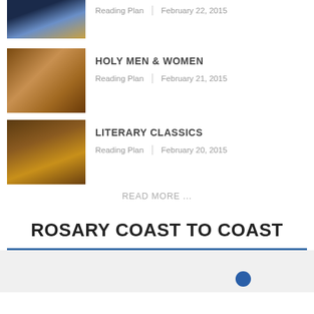[Figure (photo): Partial view of illuminated building (capitol/church) at top]
Reading Plan | February 22, 2015
[Figure (photo): Renaissance-style fresco or mural depicting holy men and women]
HOLY MEN & WOMEN
Reading Plan | February 21, 2015
[Figure (photo): Stack of old leather-bound classic books]
LITERARY CLASSICS
Reading Plan | February 20, 2015
READ MORE ...
ROSARY COAST TO COAST